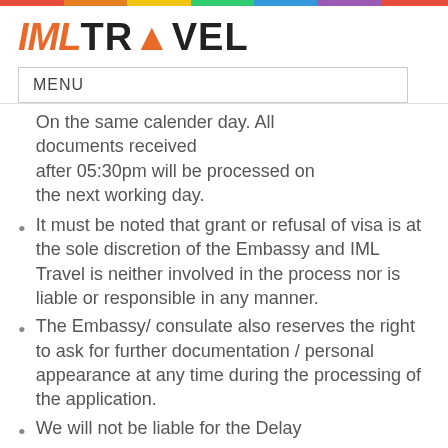[Figure (logo): IML Travel logo with rainbow bar at top]
MENU
On the same calender day. All documents received after 05:30pm will be processed on the next working day.
It must be noted that grant or refusal of visa is at the sole discretion of the Embassy and IML Travel is neither involved in the process nor is liable or responsible in any manner.
The Embassy/ consulate also reserves the right to ask for further documentation / personal appearance at any time during the processing of the application.
We will not be liable for the Delay